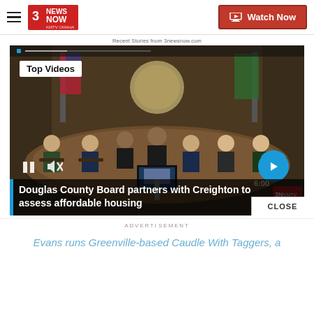3 News Now KMTV Omaha — Watch Now
Recent Stories from 3newsnow.com
[Figure (screenshot): Video player thumbnail showing Douglas County Board meeting in a wood-paneled chamber with council members seated at a curved dais. Shows Top Videos badge, pause and mute controls, and a blue arrow navigation button. Caption overlay reads: Douglas County Board partners with Creighton to assess affordable housing]
CLOSE
ADVERTISEMENT
Evans runs Greenville-based Caudle With Taggers, a